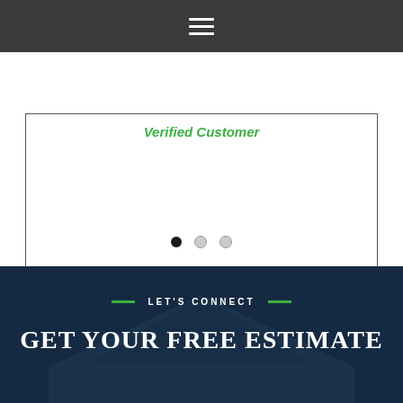Navigation menu icon
Verified Customer
[Figure (infographic): Carousel navigation dots: one filled black dot (active) and two light grey dots]
LET'S CONNECT
GET YOUR FREE ESTIMATE